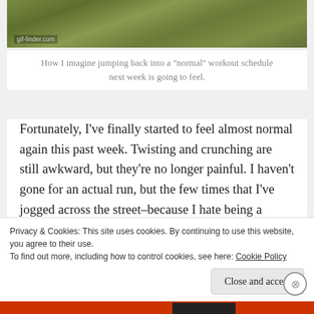[Figure (photo): Grassy outdoor scene, image from gif-finder.com]
How I imagine jumping back into a "normal" workout schedule next week is going to feel.
Fortunately, I've finally started to feel almost normal again this past week. Twisting and crunching are still awkward, but they're no longer painful. I haven't gone for an actual run, but the few times that I've jogged across the street–because I hate being a pedestrian and feel bad when cars actually stop for me–haven't been painful, either (it just makes me very aware of the fact that I have ribs at all). I'm
Advertisements
Privacy & Cookies: This site uses cookies. By continuing to use this website, you agree to their use.
To find out more, including how to control cookies, see here: Cookie Policy
Close and accept